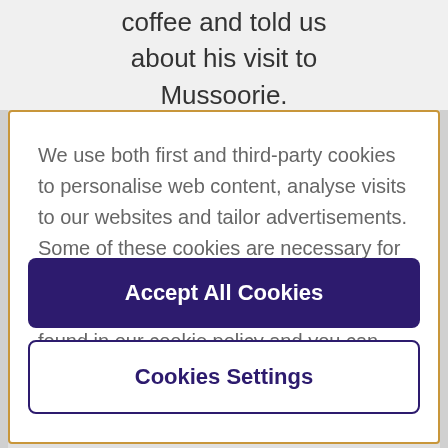coffee and told us about his visit to Mussoorie.
We use both first and third-party cookies to personalise web content, analyse visits to our websites and tailor advertisements. Some of these cookies are necessary for the website to function, whilst others require your consent. More detail can be found in our cookie policy and you can tailor your choices in the preference centre.
Accept All Cookies
Cookies Settings